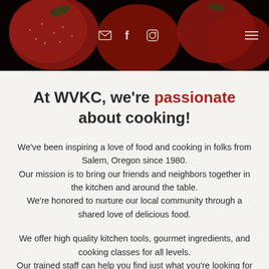[Figure (photo): Close-up photo of red strawberries with dark background, used as hero banner image with navigation icons overlaid]
✉ f 🎵 ☰
At WVKC, we're passionate about cooking!
We've been inspiring a love of food and cooking in folks from Salem, Oregon since 1980. Our mission is to bring our friends and neighbors together in the kitchen and around the table. We're honored to nurture our local community through a shared love of delicious food.
We offer high quality kitchen tools, gourmet ingredients, and cooking classes for all levels. Our trained staff can help you find just what you're looking for